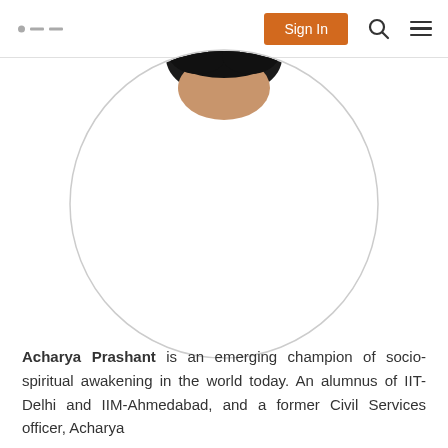Sign In
[Figure (photo): Circular profile photo frame with a person's head partially visible at the top. The circle has a light grey border on a white background.]
Acharya Prashant is an emerging champion of socio-spiritual awakening in the world today. An alumnus of IIT-Delhi and IIM-Ahmedabad, and a former Civil Services officer, Acharya